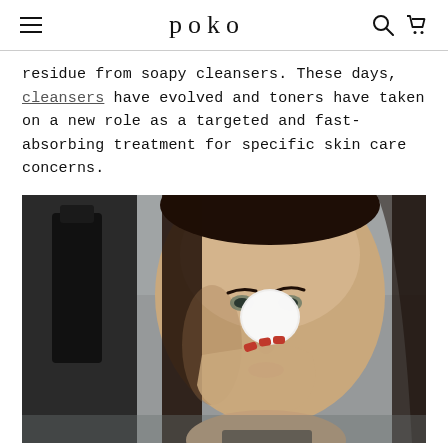poko
residue from soapy cleansers. These days, cleansers have evolved and toners have taken on a new role as a targeted and fast-absorbing treatment for specific skin care concerns.
[Figure (photo): A young woman with dark hair applying a cotton pad to her face, viewed close-up, against a grey background with a dark bottle visible on the left.]